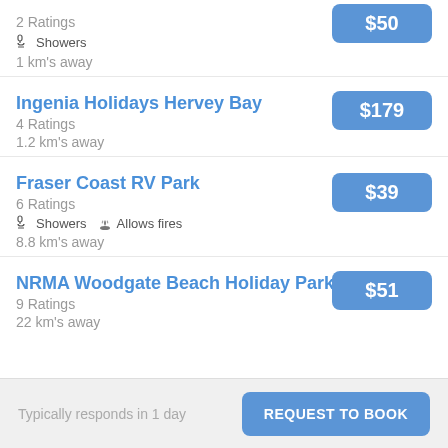2 Ratings
🚿 Showers
1 km's away
$50
Ingenia Holidays Hervey Bay
4 Ratings
1.2 km's away
$179
Fraser Coast RV Park
6 Ratings
🚿 Showers  🔥 Allows fires
8.8 km's away
$39
NRMA Woodgate Beach Holiday Park
9 Ratings
22 km's away
$51
Typically responds in 1 day
REQUEST TO BOOK